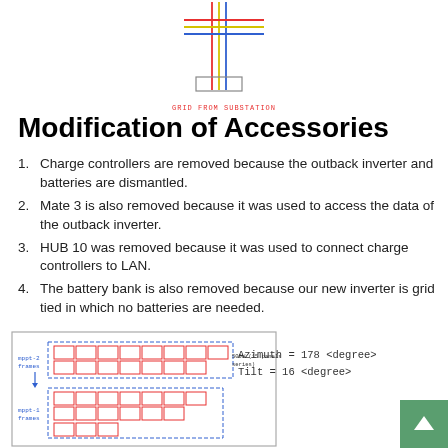[Figure (schematic): Electrical schematic showing grid from substation connection with colored lines (red, blue, yellow) and labeled 'GRID FROM SUBSTATION']
Modification of Accessories
Charge controllers are removed because the outback inverter and batteries are dismantled.
Mate 3 is also removed because it was used to access the data of the outback inverter.
HUB 10 was removed because it was used to connect charge controllers to LAN.
The battery bank is also removed because our new inverter is grid tied in which no batteries are needed.
[Figure (engineering-diagram): Solar panel array layout diagram showing two groups of panels (mppt-2 frames and mppt-1 frames) with wiring, labeled '500W (15 panels in series)']
Azimuth = 178 (degree)
Tilt = 16 (degree)